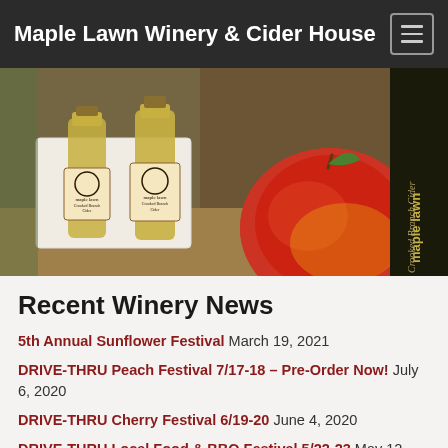Maple Lawn Winery & Cider House
[Figure (photo): Photo of Maple Lawn Crooked Branch Cider bottles with apple and branded packaging]
Recent Winery News
5th Annual Sunflower Festival  March 19, 2021
DRIVE-THRU Peach Festival 7/17-18 – Pre-Order Now!  July 6, 2020
DRIVE-THRU Cherry Festival 6/19-20  June 4, 2020
DRIVE-THRU Local Food & BBQ Festival 5/22-23  May 12, 2020